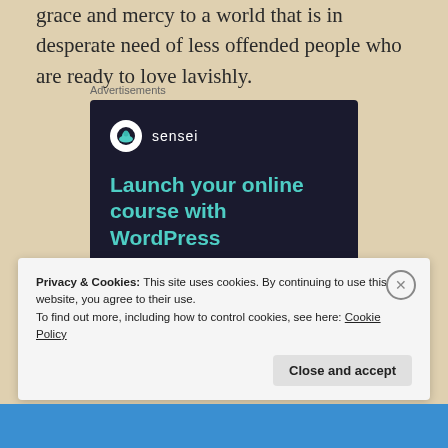grace and mercy to a world that is in desperate need of less offended people who are ready to love lavishly.
Advertisements
[Figure (other): Sensei advertisement banner with dark navy background. Shows Sensei logo (tree icon in white circle) and brand name 'sensei', headline text 'Launch your online course with WordPress' in teal/green color, and a 'Learn More' rounded button in teal.]
Privacy & Cookies: This site uses cookies. By continuing to use this website, you agree to their use.
To find out more, including how to control cookies, see here: Cookie Policy
Close and accept